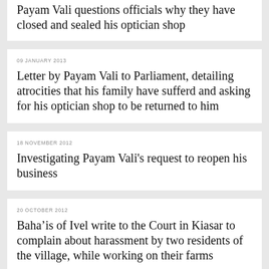Payam Vali questions officials why they have closed and sealed his optician shop
09 JANUARY 2013
Letter by Payam Vali to Parliament, detailing atrocities that his family have sufferd and asking for his optician shop to be returned to him
18 NOVEMBER 2012
Investigating Payam Vali's request to reopen his business
20 OCTOBER 2012
Baha’is of Ivel write to the Court in Kiasar to complain about harassment by two residents of the village, while working on their farms